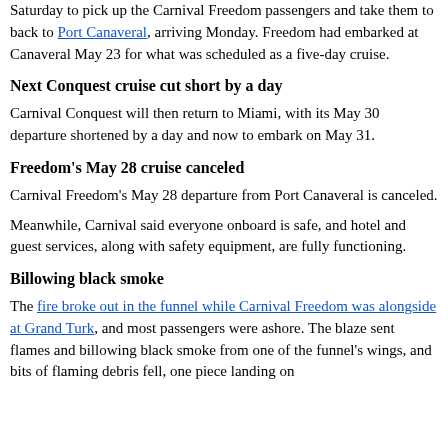Saturday to pick up the Carnival Freedom passengers and take them to back to Port Canaveral, arriving Monday. Freedom had embarked at Canaveral May 23 for what was scheduled as a five-day cruise.
Next Conquest cruise cut short by a day
Carnival Conquest will then return to Miami, with its May 30 departure shortened by a day and now to embark on May 31.
Freedom's May 28 cruise canceled
Carnival Freedom's May 28 departure from Port Canaveral is canceled.
Meanwhile, Carnival said everyone onboard is safe, and hotel and guest services, along with safety equipment, are fully functioning.
Billowing black smoke
The fire broke out in the funnel while Carnival Freedom was alongside at Grand Turk, and most passengers were ashore. The blaze sent flames and billowing black smoke from one of the funnel's wings, and bits of flaming debris fell, one piece landing on